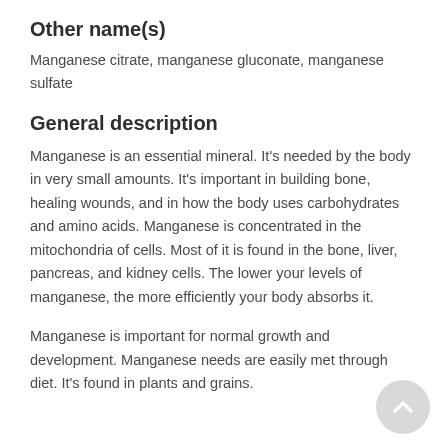Other name(s)
Manganese citrate, manganese gluconate, manganese sulfate
General description
Manganese is an essential mineral. It's needed by the body in very small amounts. It's important in building bone, healing wounds, and in how the body uses carbohydrates and amino acids. Manganese is concentrated in the mitochondria of cells. Most of it is found in the bone, liver, pancreas, and kidney cells. The lower your levels of manganese, the more efficiently your body absorbs it.
Manganese is important for normal growth and development. Manganese needs are easily met through diet. It's found in plants and grains.